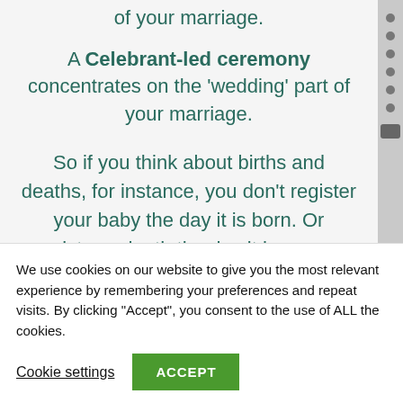of your marriage.
A Celebrant-led ceremony concentrates on the 'wedding' part of your marriage.
So if you think about births and deaths, for instance, you don't register your baby the day it is born. Or register a death the day it happens.
We use cookies on our website to give you the most relevant experience by remembering your preferences and repeat visits. By clicking “Accept”, you consent to the use of ALL the cookies.
Cookie settings
ACCEPT